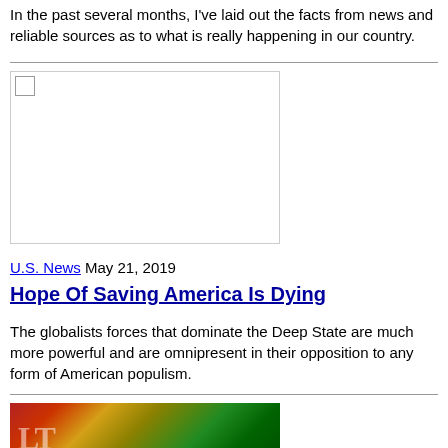In the past several months, I've laid out the facts from news and reliable sources as to what is really happening in our country.
[Figure (photo): Placeholder image with broken image icon in top-left corner, white background with border]
U.S. News May 21, 2019
Hope Of Saving America Is Dying
The globalists forces that dominate the Deep State are much more powerful and are omnipresent in their opposition to any form of American populism.
[Figure (photo): Close-up photo of US dollar bill showing colorful gradient with red, yellow, and green tones, showing partial text including letters 'LT']